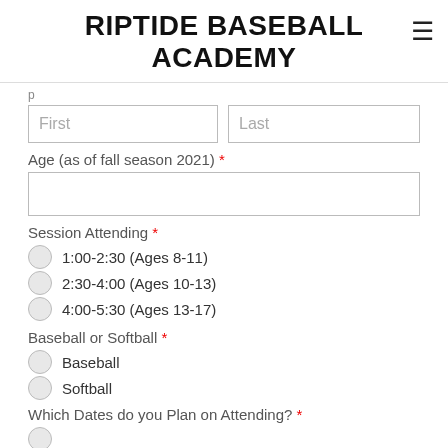RIPTIDE BASEBALL ACADEMY
First / Last (name fields)
Age (as of fall season 2021) *
Session Attending *
1:00-2:30 (Ages 8-11)
2:30-4:00 (Ages 10-13)
4:00-5:30 (Ages 13-17)
Baseball or Softball *
Baseball
Softball
Which Dates do you Plan on Attending? *